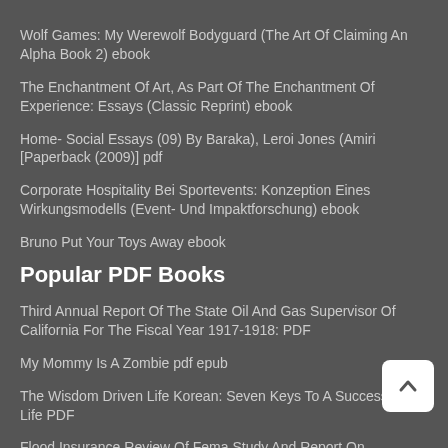Wolf Games: My Werewolf Bodyguard (The Art Of Claiming An Alpha Book 2) ebook
The Enchantment Of Art, As Part Of The Enchantment Of Experience: Essays (Classic Reprint) ebook
Home- Social Essays (09) By Baraka), Leroi Jones (Amiri [Paperback (2009)] pdf
Corporate Hospitality Bei Sportevents: Konzeption Eines Wirkungsmodells (Event- Und Impaktforschung) ebook
Bruno Put Your Toys Away ebook
Popular PDF Books
Third Annual Report Of The State Oil And Gas Supervisor Of California For The Fiscal Year 1917-1918: PDF
My Mommy Is A Zombie pdf epub
The Wisdom Driven Life Korean: Seven Keys To A Successful Life PDF
Flood Insurance Review Of Fema Study And Report On